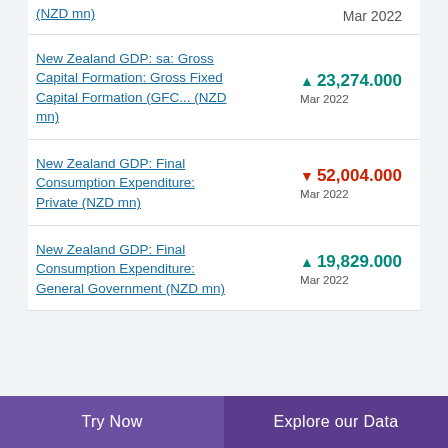(NZD mn)  ▲  Mar 2022
New Zealand GDP: sa: Gross Capital Formation: Gross Fixed Capital Formation (GFC... (NZD mn)  ▲ 23,274.000  Mar 2022
New Zealand GDP: Final Consumption Expenditure: Private (NZD mn)  ▼ 52,004.000  Mar 2022
New Zealand GDP: Final Consumption Expenditure: General Government (NZD mn)  ▲ 19,829.000  Mar 2022
Try Now  Explore our Data